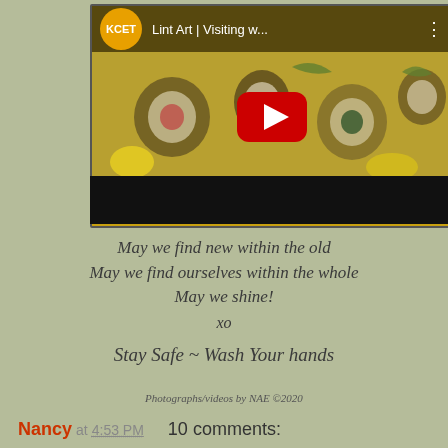[Figure (screenshot): YouTube video thumbnail for 'Lint Art | Visiting w...' by KCET channel, showing sushi rolls with a yellow-tinted overlay, red YouTube play button in center, and 'Lint Art' title text at bottom left.]
May we find new within the old
May we find ourselves within the whole
May we shine!
xo
Stay Safe ~ Wash Your hands
Photographs/videos by NAE ©2020
Nancy at 4:53 PM   10 comments: